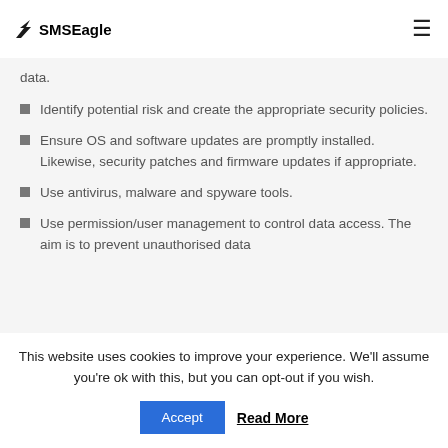SMSEagle
data.
Identify potential risk and create the appropriate security policies.
Ensure OS and software updates are promptly installed. Likewise, security patches and firmware updates if appropriate.
Use antivirus, malware and spyware tools.
Use permission/user management to control data access. The aim is to prevent unauthorised data
This website uses cookies to improve your experience. We'll assume you're ok with this, but you can opt-out if you wish.